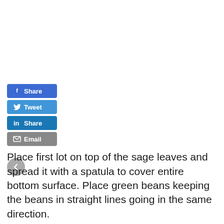[Figure (screenshot): Social sharing buttons: Facebook Share (blue), Twitter Tweet (blue), LinkedIn Share (blue), Email (gray), and a gray circular back arrow button]
Place first lot on top of the sage leaves and spread it with a spatula to cover entire bottom surface. Place green beans keeping the beans in straight lines going in the same direction.